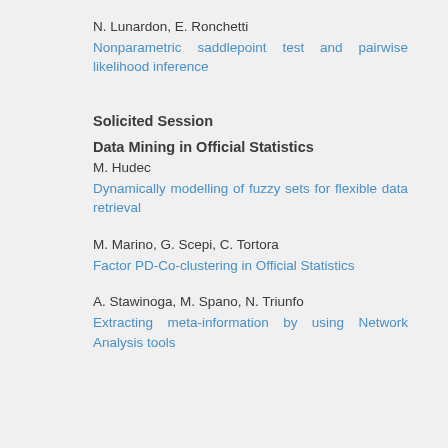N. Lunardon, E. Ronchetti
Nonparametric saddlepoint test and pairwise likelihood inference
Solicited Session
Data Mining in Official Statistics
M. Hudec
Dynamically modelling of fuzzy sets for flexible data retrieval
M. Marino, G. Scepi, C. Tortora
Factor PD-Co-clustering in Official Statistics
A. Stawinoga, M. Spano, N. Triunfo
Extracting meta-information by using Network Analysis tools